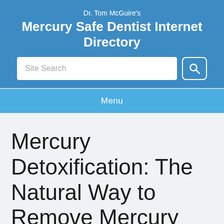Dr. Tom McGuire's Mercury Safe Dentist Internet Directory
[Figure (screenshot): Site Search input field with search button]
Menu
Mercury Detoxification: The Natural Way to Remove Mercury from Your Body: Book